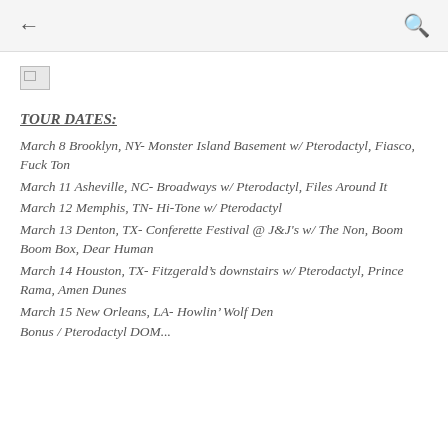← [navigation bar] Q
[Figure (photo): Broken image placeholder icon in upper left of content area]
TOUR DATES:
March 8 Brooklyn, NY- Monster Island Basement w/ Pterodactyl, Fiasco, Fuck Ton
March 11 Asheville, NC- Broadways w/ Pterodactyl, Files Around It
March 12 Memphis, TN- Hi-Tone w/ Pterodactyl
March 13 Denton, TX- Conferette Festival @ J&J's w/ The Non, Boom Boom Box, Dear Human
March 14 Houston, TX- Fitzgerald's downstairs w/ Pterodactyl, Prince Rama, Amen Dunes
March 15 New Orleans, LA- Howlin' Wolf Den Bonus / Pterodactyl DOM...